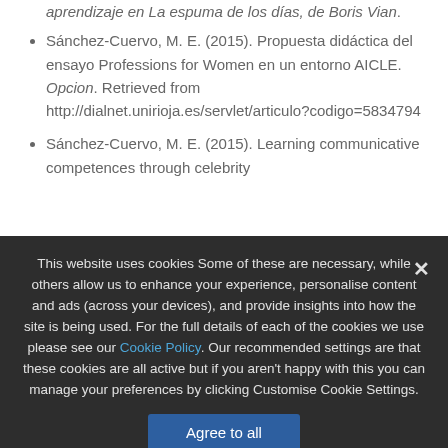aprendizaje en La espuma de los días, de Boris Vian.
Sánchez-Cuervo, M. E. (2015). Propuesta didáctica del ensayo Professions for Women en un entorno AICLE. Opcion. Retrieved from http://dialnet.unirioja.es/servlet/articulo?codigo=5834794
Sánchez-Cuervo, M. E. (2015). Learning communicative competences through celebrity
This website uses cookies Some of these are necessary, while others allow us to enhance your experience, personalise content and ads (across your devices), and provide insights into how the site is being used. For the full details of each of the cookies we use please see our Cookie Policy. Our recommended settings are that these cookies are all active but if you aren't happy with this you can manage your preferences by clicking Customise Cookie Settings.